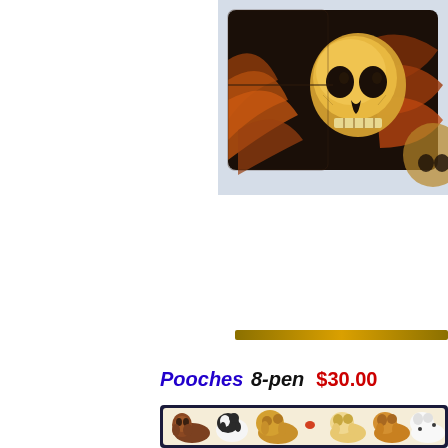[Figure (photo): A dark wallet/billfold with a skull and wings design printed on it, shown partially open, on a light blue-grey background.]
[Figure (other): A gold/amber horizontal divider bar.]
Pooches 8-pen  $30.00
[Figure (photo): A rectangular pencil/pen case featuring illustrated cartoon-style dogs of various breeds on a cream background, framed with a dark border.]